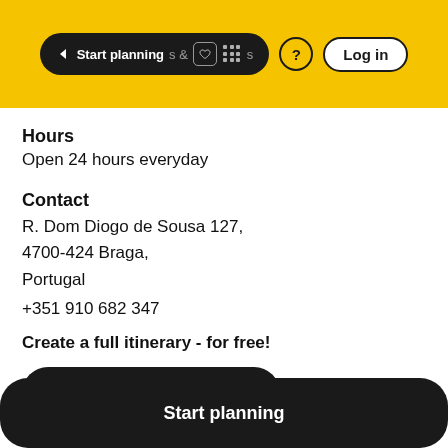Start planning | & tivities | ? | Log in
Hours
Open 24 hours everyday
Contact
R. Dom Diogo de Sousa 127,
4700-424 Braga,
Portugal
+351 910 682 347
Create a full itinerary - for free!
[Figure (screenshot): Start planning button (partial black rounded rectangle)]
[Figure (screenshot): Start planning bottom navigation bar (black rounded rectangle)]